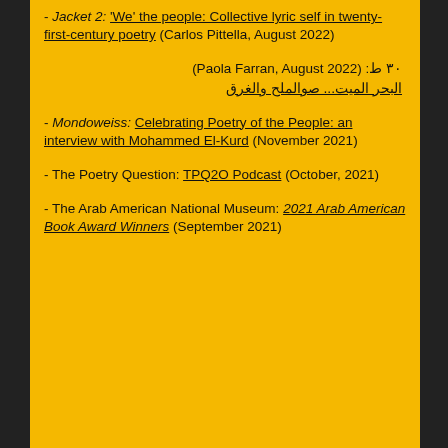- Jacket 2: 'We' the people: Collective lyric self in twenty-first-century poetry (Carlos Pittella, August 2022)
ط ٣٠ : (Paola Farran, August 2022)
البحر الميت... صوالملح والغرق
- Mondoweiss: Celebrating Poetry of the People: an interview with Mohammed El-Kurd (November 2021)
- The Poetry Question: TPQ2O Podcast (October, 2021)
- The Arab American National Museum: 2021 Arab American Book Award Winners (September 2021)